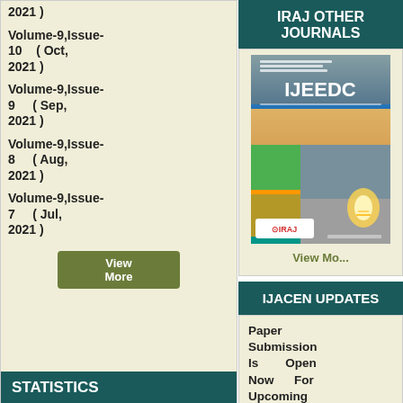2021 )
Volume-9,Issue-10 ( Oct, 2021 )
Volume-9,Issue-9 ( Sep, 2021 )
Volume-9,Issue-8 ( Aug, 2021 )
Volume-9,Issue-7 ( Jul, 2021 )
IRAJ OTHER JOURNALS
[Figure (photo): IJEEDC journal cover showing the journal logo, colorful grid design with engineering images including circuit boards and a light bulb, and IRAJ publisher logo]
View Mo...
IJACEN UPDATES
Paper Submission Is Open Now For Upcoming
STATISTICS